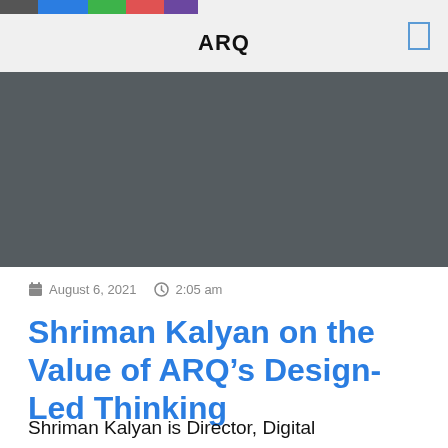ARQ
[Figure (photo): Dark grey hero image banner]
August 6, 2021   2:05 am
Shriman Kalyan on the Value of ARQ’s Design-Led Thinking
Shriman Kalyan is Director, Digital